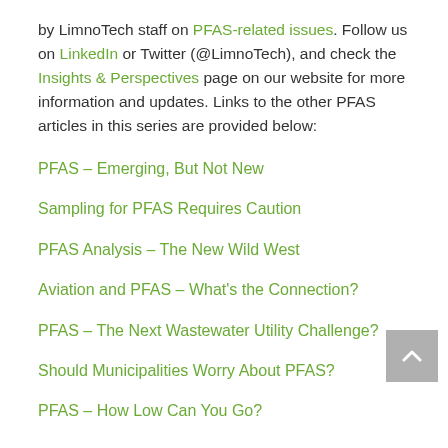by LimnoTech staff on PFAS-related issues. Follow us on LinkedIn or Twitter (@LimnoTech), and check the Insights & Perspectives page on our website for more information and updates. Links to the other PFAS articles in this series are provided below:
PFAS – Emerging, But Not New
Sampling for PFAS Requires Caution
PFAS Analysis – The New Wild West
Aviation and PFAS – What's the Connection?
PFAS – The Next Wastewater Utility Challenge?
Should Municipalities Worry About PFAS?
PFAS – How Low Can You Go?